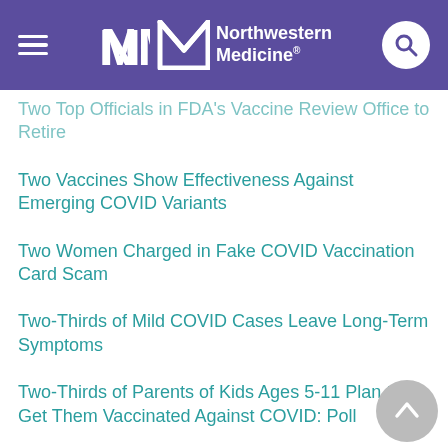Northwestern Medicine
Two Top Officials in FDA's Vaccine Review Office to Retire
Two Vaccines Show Effectiveness Against Emerging COVID Variants
Two Women Charged in Fake COVID Vaccination Card Scam
Two-Thirds of Mild COVID Cases Leave Long-Term Symptoms
Two-Thirds of Parents of Kids Ages 5-11 Plan to Get Them Vaccinated Against COVID: Poll
U.K. Is First Country to Approve Moderna's Omicron-Targeted COVID Vaccine
U.K. Variant Won't Trigger More Severe COVID, Studies Find